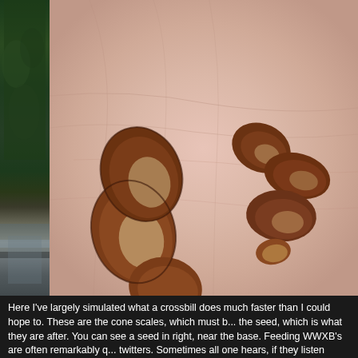[Figure (photo): Close-up photograph of several small dark reddish-brown cone scales and seeds resting in an open human palm. The seeds have a glossy appearance with lighter undersides visible. There is also a narrow left strip showing an outdoor forest/waterfall scene.]
Here I've largely simulated what a crossbill does much faster than I could hope to. These are the cone scales, which must be pried back to expose the seed, which is what they are after. You can see a seed in the group on the right, near the base. Feeding WWXB's are often remarkably quiet — just soft twitters. Sometimes all one hears, if they listen closely, are th...